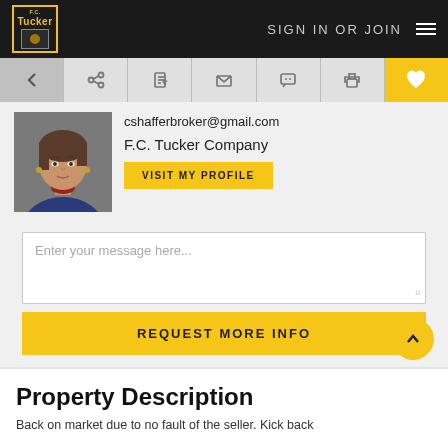SIGN IN OR JOIN
[Figure (screenshot): Website toolbar with back, share, edit, email, chat, print, and favorite (heart) icons. The heart icon is highlighted in yellow.]
[Figure (photo): Headshot of a middle-aged woman with short brown hair wearing a blue blazer and red patterned blouse.]
cshafferbroker@gmail.com
F.C. Tucker Company
VISIT MY PROFILE
Enter your message here...
REQUEST MORE INFO
Property Description
Back on market due to no fault of the seller. Kick back